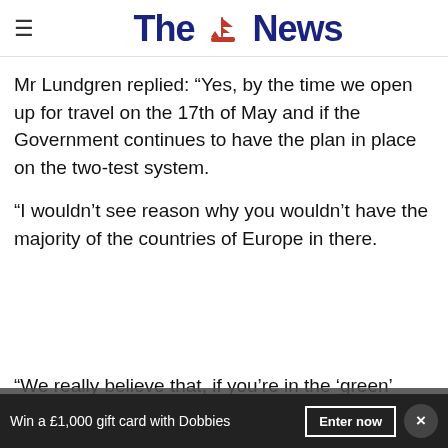The News
Mr Lundgren replied: “Yes, by the time we open up for travel on the 17th of May and if the Government continues to have the plan in place on the two-test system.
“I wouldn’t see reason why you wouldn’t have the majority of the countries of Europe in there.
“We really believe that, if you’re in the ‘green’ categ...
[Figure (screenshot): Advertisement overlay: Save Up to 65% Leesburg Premium Outlets]
[Figure (screenshot): Bottom bar: Win a £1,000 gift card with Dobbies. Enter now button. Close button.]